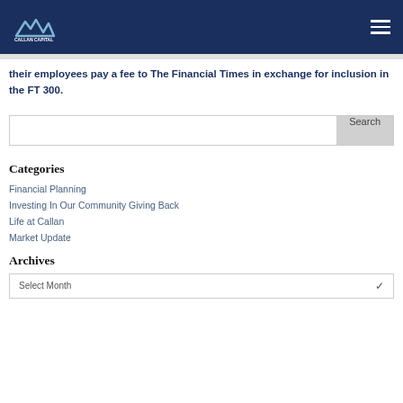Callan Capital
their employees pay a fee to The Financial Times in exchange for inclusion in the FT 300.
Search
Categories
Financial Planning
Investing In Our Community Giving Back
Life at Callan
Market Update
Archives
Select Month